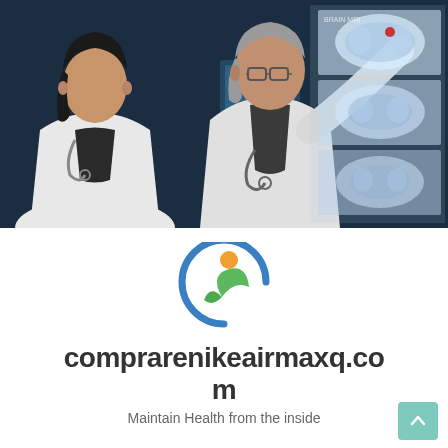[Figure (photo): Two doctors in white lab coats examining brain MRI scans displayed on a large lightbox screen. A male doctor with gray hair and glasses points to the scan with a pen, while a younger female doctor with dark hair and a stethoscope looks on. Background is dark blue/teal.]
[Figure (logo): Circular logo with blue arc, green leaf/figure shape, and orange circle, representing a health/wellness brand.]
comprarenikeairmaxq.com
Maintain Health from the inside